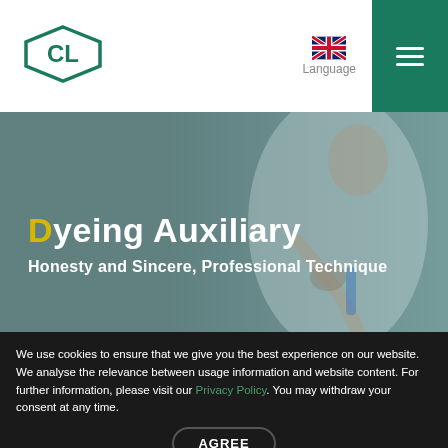[Figure (logo): CL company logo — green hexagonal badge with CL letters]
[Figure (illustration): UK flag icon with Language label underneath]
Language
Dyeing Auxiliary
Honesty and Sincere, Professional Technique
We use cookies to ensure that we give you the best experience on our website. We analyse the relevance between usage information and website content. For further information, please visit our Privacy Policy. You may withdraw your consent at any time.
AGREE